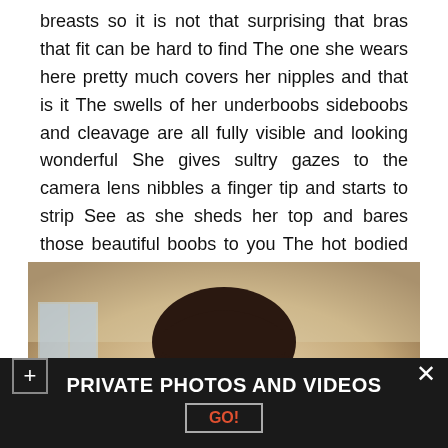breasts so it is not that surprising that bras that fit can be hard to find The one she wears here pretty much covers her nipples and that is it The swells of her underboobs sideboobs and cleavage are all fully visible and looking wonderful She gives sultry gazes to the camera lens nibbles a finger tip and starts to strip See as she sheds her top and bares those beautiful boobs to you The hot bodied temptress then works off her panties to unveil her ass and pussy See her reach down beneath and spread those wet pink lips.
[Figure (photo): Portrait photo of a young Asian woman with dark hair and bangs, smiling slightly, photographed indoors with light background]
PRIVATE PHOTOS AND VIDEOS
GO!